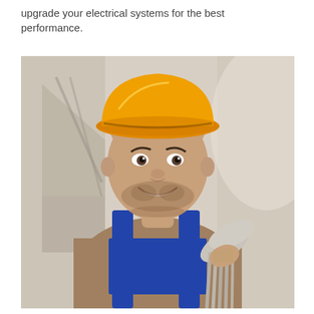upgrade your electrical systems for the best performance.
[Figure (photo): A smiling young male electrician/construction worker wearing an orange hard hat and blue overalls over a brown shirt, holding a bundle of white cables over his shoulder. Background shows a blurred industrial or construction site interior.]